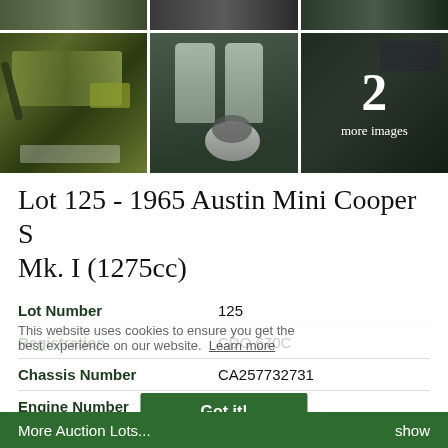[Figure (photo): Top strip of car photos (partially cropped)]
[Figure (photo): Three car detail photos: engine bay, seats with spare tire, interior with '2 more images' overlay]
Lot 125 - 1965 Austin Mini Cooper S Mk. I (1275cc)
| Lot Number | 125 |
| Registration | CDO 670C |
| Chassis Number | CA257732731 |
| Engine Number | 9FSAY27568 |
This website uses cookies to ensure you get the best experience on our website. Learn more
Got it!
More Auction Lots...   show